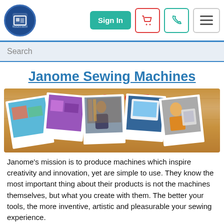Sign In | Cart | Phone | Menu
Janome Sewing Machines
[Figure (illustration): Janome brand banner with polaroid-style photos of sewing machines and people, on a wood-grain background. The red JANOME logo appears at the top center.]
Janome’s mission is to produce machines which inspire creativity and innovation, yet are simple to use. They know the most important thing about their products is not the machines themselves, but what you create with them. The better your tools, the more inventive, artistic and pleasurable your sewing experience.